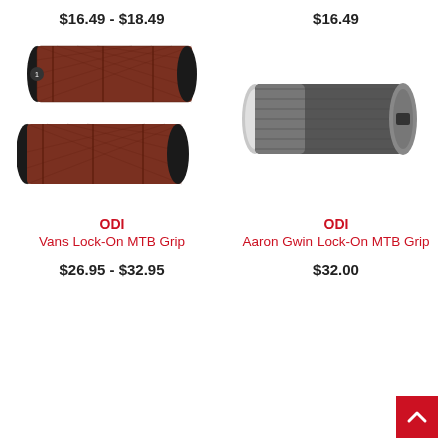$16.49 - $18.49
[Figure (photo): Two ODI Vans Lock-On MTB Grips in brown/black color, shown stacked]
$16.49
[Figure (photo): One ODI Aaron Gwin Lock-On MTB Grip in gray/black color]
ODI
Vans Lock-On MTB Grip
$26.95 - $32.95
ODI
Aaron Gwin Lock-On MTB Grip
$32.00